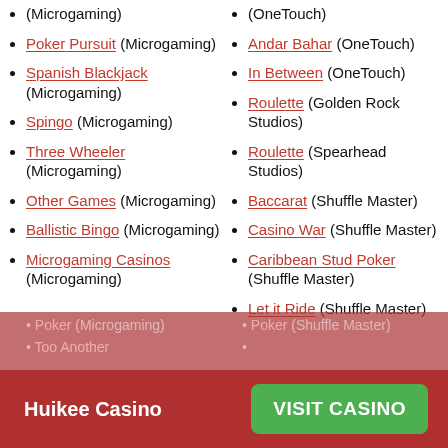(Microgaming)
Poker Pursuit (Microgaming)
Spanish Blackjack (Microgaming)
Spingo (Microgaming)
Three Wheeler (Microgaming)
Other Games (Microgaming)
Ballistic Bingo (Microgaming)
Microgaming Casinos (Microgaming)
(OneTouch)
Andar Bahar (OneTouch)
In Between (OneTouch)
Roulette (Golden Rock Studios)
Roulette (Spearhead Studios)
Baccarat (Shuffle Master)
Casino War (Shuffle Master)
Caribbean Stud Poker (Shuffle Master)
Let it Ride (Shuffle Master)
Huikee Casino
VISIT CASINO